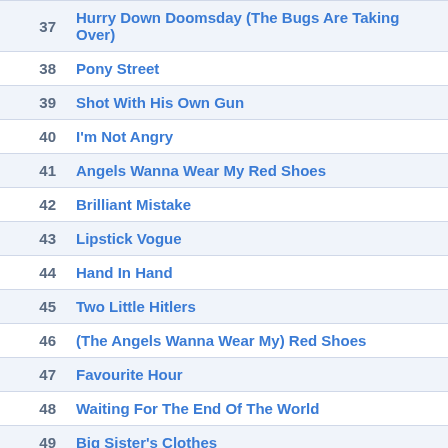| # | Song Title |
| --- | --- |
| 37 | Hurry Down Doomsday (The Bugs Are Taking Over) |
| 38 | Pony Street |
| 39 | Shot With His Own Gun |
| 40 | I'm Not Angry |
| 41 | Angels Wanna Wear My Red Shoes |
| 42 | Brilliant Mistake |
| 43 | Lipstick Vogue |
| 44 | Hand In Hand |
| 45 | Two Little Hitlers |
| 46 | (The Angels Wanna Wear My) Red Shoes |
| 47 | Favourite Hour |
| 48 | Waiting For The End Of The World |
| 49 | Big Sister's Clothes |
| 50 | Stranger In The House |
| 51 | Clown Strike |
| 52 | Let Him Dangle |
| 53 | My Science Fiction Twin |